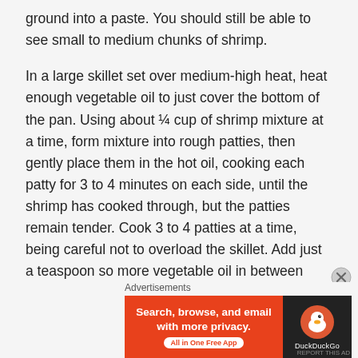ground into a paste. You should still be able to see small to medium chunks of shrimp.
In a large skillet set over medium-high heat, heat enough vegetable oil to just cover the bottom of the pan. Using about ¼ cup of shrimp mixture at a time, form mixture into rough patties, then gently place them in the hot oil, cooking each patty for 3 to 4 minutes on each side, until the shrimp has cooked through, but the patties remain tender. Cook 3 to 4 patties at a time, being careful not to overload the skillet. Add just a teaspoon so more vegetable oil in between cooking each batch of patties, allowing the oil to heat up heat time.
[Figure (other): DuckDuckGo advertisement banner: orange left panel with text 'Search, browse, and email with more privacy. All in One Free App' and dark right panel with DuckDuckGo logo and name.]